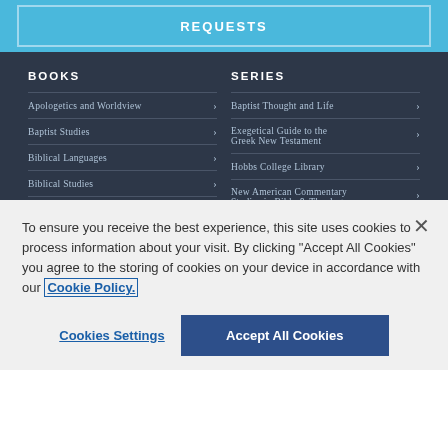REQUESTS
BOOKS
Apologetics and Worldview
Baptist Studies
Biblical Languages
Biblical Studies
Christian Higher Education
SERIES
Baptist Thought and Life
Exegetical Guide to the Greek New Testament
Hobbs College Library
New American Commentary Studies in Bible & Theology
To ensure you receive the best experience, this site uses cookies to process information about your visit. By clicking "Accept All Cookies" you agree to the storing of cookies on your device in accordance with our Cookie Policy.
Cookies Settings
Accept All Cookies